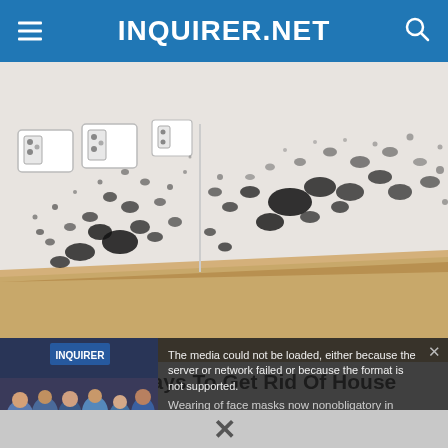INQUIRER.NET
[Figure (photo): Corner of a room wall heavily covered with black mold spots, with white electrical outlets visible and wooden baseboard flooring]
The Easiest Ways To Get Rid Of House Mold
[Figure (screenshot): Video overlay with error message: 'The media could not be loaded, either because the server or network failed or because the format is not supported.' Related video thumbnail shows 'WEARING OF FACE MASKS NOW NONOBLIGATORY IN CEBU CITY' with title text 'Wearing of face masks now nonobligatory in Cebu City']
The media could not be loaded, either because the server or network failed or because the format is not supported.
Wearing of face masks now nonobligatory in Cebu City